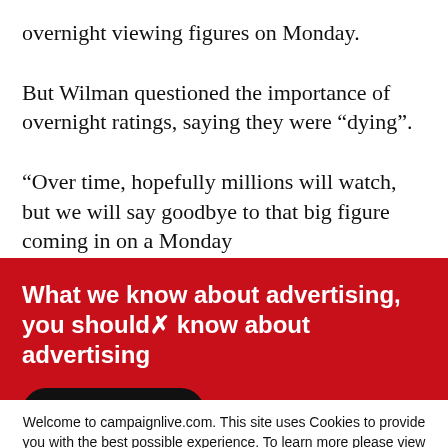overnight viewing figures on Monday.
But Wilman questioned the importance of overnight ratings, saying they were “dying”.
“Over time, hopefully millions will watch, but we will say goodbye to that big figure coming in on a Monday
[Figure (infographic): Red advertisement banner reading 'What we know about advertising, you should know about advertising' with a black 'Join Free' button on a red background]
Welcome to campaignlive.com. This site uses Cookies to provide you with the best possible experience. To learn more please view our Cookie Notice.
programme’s launch, dise  to a year.
The programme launches  ainments from